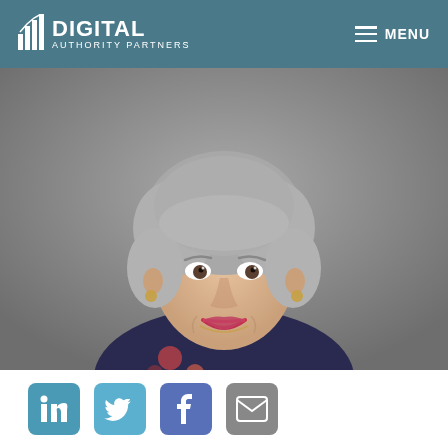DIGITAL AUTHORITY PARTNERS — MENU
[Figure (photo): Portrait photo of a middle-aged woman with short gray hair, wearing a floral top, smiling, against a gray background.]
[Figure (infographic): Social media icon buttons: LinkedIn, Twitter, Facebook, Email]